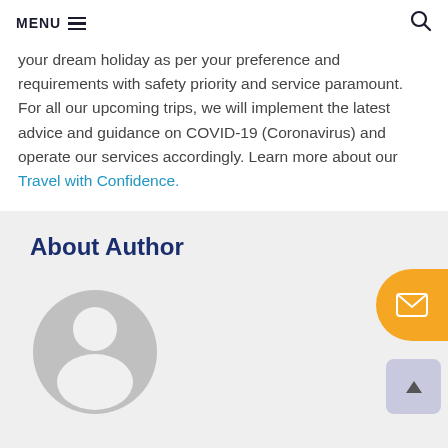MENU ☰ 🔍
your dream holiday as per your preference and requirements with safety priority and service paramount. For all our upcoming trips, we will implement the latest advice and guidance on COVID-19 (Coronavirus) and operate our services accordingly. Learn more about our Travel with Confidence.
About Author
[Figure (illustration): Gray placeholder avatar icon showing a generic user silhouette (head and shoulders) in a circular shape]